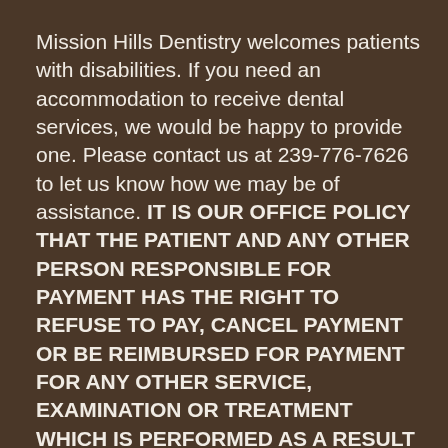Mission Hills Dentistry welcomes patients with disabilities. If you need an accommodation to receive dental services, we would be happy to provide one. Please contact us at 239-776-7626 to let us know how we may be of assistance. IT IS OUR OFFICE POLICY THAT THE PATIENT AND ANY OTHER PERSON RESPONSIBLE FOR PAYMENT HAS THE RIGHT TO REFUSE TO PAY, CANCEL PAYMENT OR BE REIMBURSED FOR PAYMENT FOR ANY OTHER SERVICE, EXAMINATION OR TREATMENT WHICH IS PERFORMED AS A RESULT OF AND WITHIN 72 HOURS OF RESPONDING TO THE ADVERTISEMENT FOR THE FREE, DISCOUNTED-FEE OR REDUCED-FEE SERVICE, EXAMINATION OR TREATMENT.